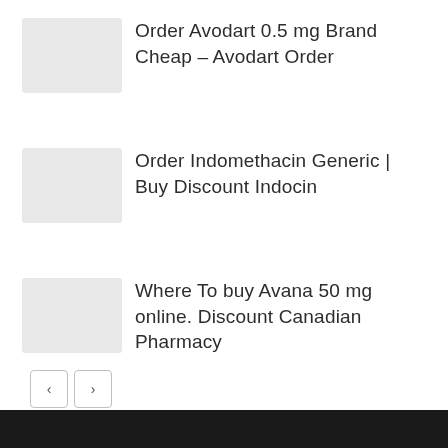Order Avodart 0.5 mg Brand Cheap – Avodart Order
Order Indomethacin Generic | Buy Discount Indocin
Where To buy Avana 50 mg online. Discount Canadian Pharmacy